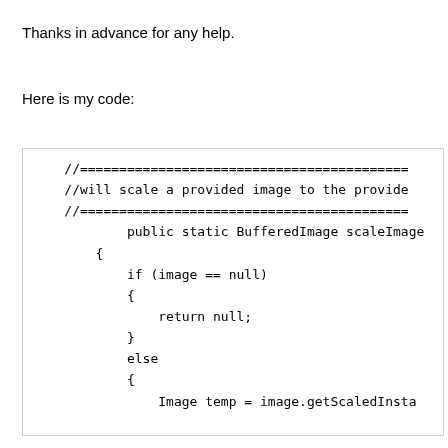Thanks in advance for any help.
Here is my code:
[Figure (screenshot): Code block showing a Java method scaleImage with a comment header, null check for image parameter, and if-else structure with return null and Image temp = image.getScaledInsta... and BufferedImage scaledImage = new B...]